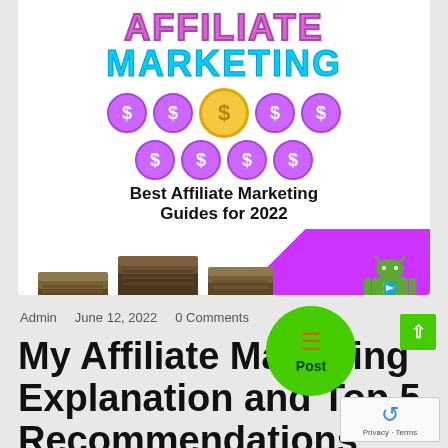[Figure (illustration): Book cover for 'Affiliate Marketing - Best Affiliate Marketing Guides for 2022' featuring dollar sign coins arranged in a hub-and-spoke pattern, stacks of money/cash, Android robot logo, and author signature, with purple/white/cyan color scheme]
Admin    June 12, 2022    0 Comments
My Affiliate Marketing Explanation and Top 5 Recommendations